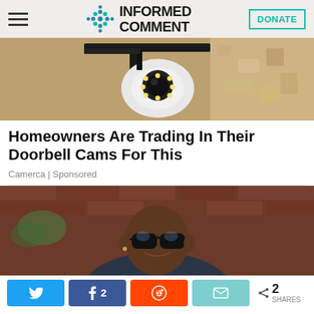INFORMED COMMENT | DONATE
[Figure (photo): Security camera mounted on a wall bracket, white dome camera with LED lights, mounted on rough textured wall]
Homeowners Are Trading In Their Doorbell Cams For This
Camerca | Sponsored
[Figure (photo): Man wearing glasses sitting in front of a brick wall background]
< 2 SHARES with Twitter, Facebook (2), Reddit, and Email share buttons